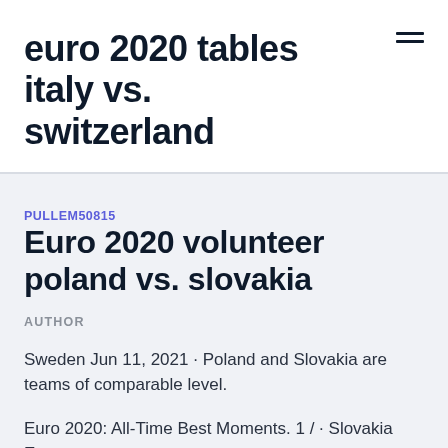euro 2020 tables italy vs. switzerland
PULLEM50815
Euro 2020 volunteer poland vs. slovakia
AUTHOR
Sweden Jun 11, 2021 · Poland and Slovakia are teams of comparable level.
Euro 2020: All-Time Best Moments. 1 / · Slovakia Euro